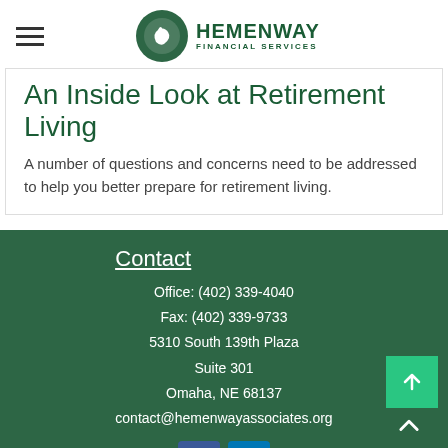Hemenway Financial Services
An Inside Look at Retirement Living
A number of questions and concerns need to be addressed to help you better prepare for retirement living.
Contact
Office: (402) 339-4040
Fax: (402) 339-9733
5310 South 139th Plaza
Suite 301
Omaha, NE 68137
contact@hemenwayassociates.org